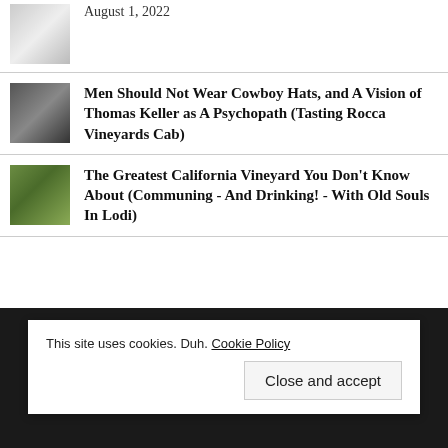August 1, 2022
Men Should Not Wear Cowboy Hats, and A Vision of Thomas Keller as A Psychopath (Tasting Rocca Vineyards Cab)
The Greatest California Vineyard You Don't Know About (Communing - And Drinking! - With Old Souls In Lodi)
This site uses cookies. Duh. Cookie Policy
Close and accept